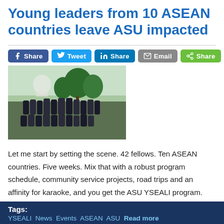Young leaders from 10 ASEAN countries leave ASU impacted
[Figure (photo): Group photo of approximately 42 ASEAN fellows posing outdoors near the US Capitol building, dressed in formal attire]
Let me start by setting the scene. 42 fellows. Ten ASEAN countries. Five weeks. Mix that with a robust program schedule, community service projects, road trips and an affinity for karaoke, and you get the ASU YSEALI program.
Tags: YSEALI News Events ASEAN ASU Read more